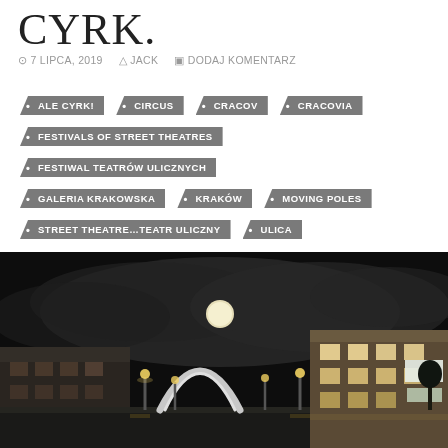CYRK.
⊙ 7 LIPCA, 2019   ▲ JACK   ✉ DODAJ KOMENTARZ
ALE CYRK!
CIRCUS
CRACOV
CRACOVIA
FESTIVALS OF STREET THEATRES
FESTIWAL TEATRÓW ULICZNYCH
GALERIA KRAKOWSKA
KRAKÓW
MOVING POLES
STREET THEATRE…TEATR ULICZNY
ULICA
[Figure (photo): Night scene of Krakow city square with illuminated buildings, a large arch sculpture, street lamps, and a bright full moon visible through cloudy sky]